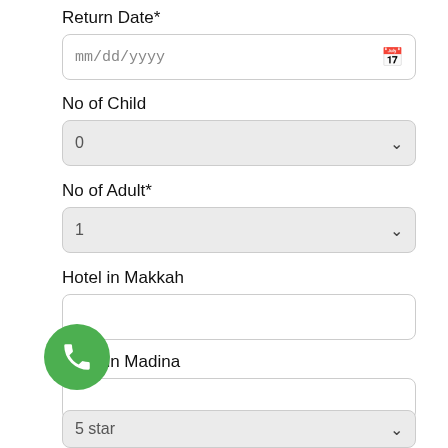Return Date*
mm/dd/yyyy
No of Child
0
No of Adult*
1
Hotel in Makkah
Hotel in Madina
Categories*
5 star
[Figure (illustration): Green circular FAB button with white phone/call icon]